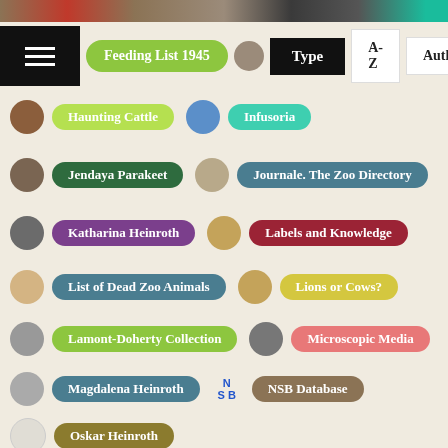Feeding List 1945
Type
A-Z
Author
Haunting Cattle
Infusoria
Jendaya Parakeet
Journale. The Zoo Directory
Katharina Heinroth
Labels and Knowledge
List of Dead Zoo Animals
Lions or Cows?
Lamont-Doherty Collection
Microscopic Media
Magdalena Heinroth
NSB Database
Oskar Heinroth
Of Lion-Tigers and Rotting Specimens
Of Disappearance and Rediscovery
Allow Cookies? What they do
OK